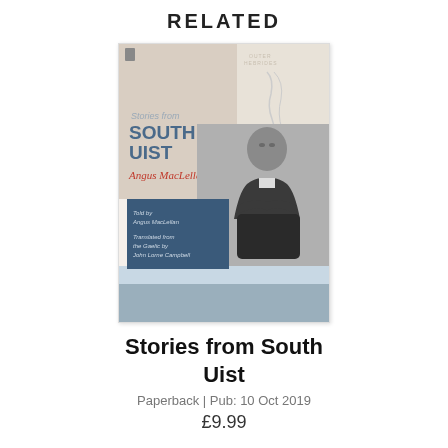RELATED
[Figure (photo): Book cover of 'Stories from South Uist' by Angus MacLellan. The cover features a beige/cream upper section with the title in large blue letters, a cursive signature 'Angus MacLellan' in red, a dark blue panel with text 'Told by Angus MacLellan / Translated from the Gaelic by John Lorne Campbell', and a black-and-white photograph of an elderly man seated, with a coastal landscape in the background.]
Stories from South Uist
Paperback | Pub: 10 Oct 2019
£9.99